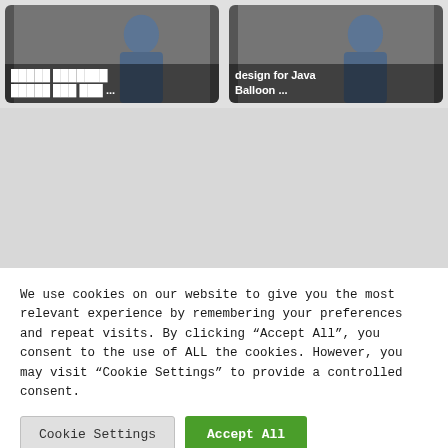[Figure (screenshot): Two video thumbnails side by side. Left thumbnail shows a person in a blue shirt with overlaid text in Arabic/non-Latin script. Right thumbnail shows a person in a blue shirt with overlaid text 'design for Java Balloon ...']
We use cookies on our website to give you the most relevant experience by remembering your preferences and repeat visits. By clicking "Accept All", you consent to the use of ALL the cookies. However, you may visit "Cookie Settings" to provide a controlled consent.
Cookie Settings
Accept All